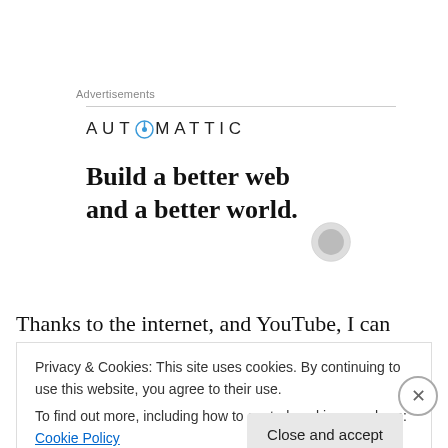Advertisements
[Figure (logo): Automattic logo with stylized compass 'O' in blue, text in spaced caps: AUT O MATTIC]
Build a better web and a better world.
Thanks to the internet, and YouTube, I can watch that
Privacy & Cookies: This site uses cookies. By continuing to use this website, you agree to their use.
To find out more, including how to control cookies, see here: Cookie Policy
Close and accept